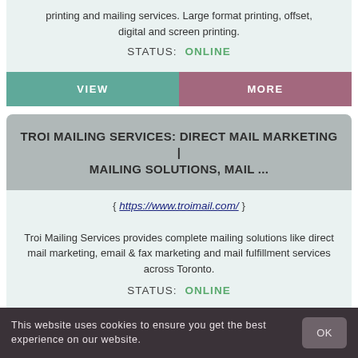printing and mailing services. Large format printing, offset, digital and screen printing.
STATUS: ONLINE
VIEW
MORE
TROI MAILING SERVICES: DIRECT MAIL MARKETING | MAILING SOLUTIONS, MAIL ...
{ https://www.troimail.com/ }
Troi Mailing Services provides complete mailing solutions like direct mail marketing, email & fax marketing and mail fulfillment services across Toronto.
STATUS: ONLINE
VIEW
MORE
This website uses cookies to ensure you get the best experience on our website.